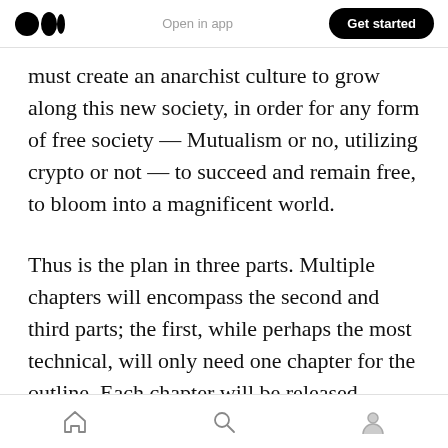Medium logo | Open in app | Get started
must create an anarchist culture to grow along this new society, in order for any form of free society — Mutualism or no, utilizing crypto or not — to succeed and remain free, to bloom into a magnificent world.
Thus is the plan in three parts. Multiple chapters will encompass the second and third parts; the first, while perhaps the most technical, will only need one chapter for the outline. Each chapter will be released regularly, or at least is planned to be. Let us hope that it shall leave a worthy
Home | Search | Profile